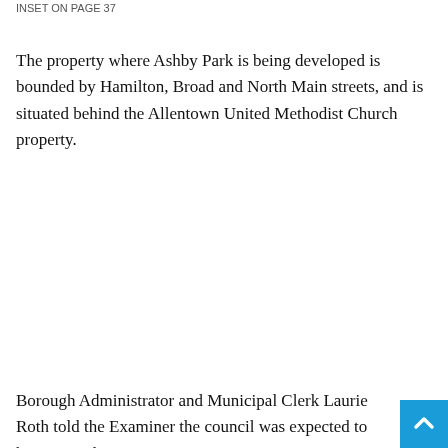INSET ON PAGE 37
The property where Ashby Park is being developed is bounded by Hamilton, Broad and North Main streets, and is situated behind the Allentown United Methodist Church property.
Borough Administrator and Municipal Clerk Laurie Roth told the Examiner the council was expected to have a resolution on